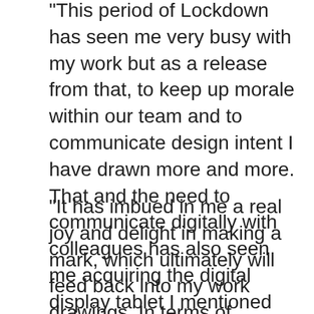"This period of Lockdown has seen me very busy with my work but as a release from that, to keep up morale within our team and to communicate design intent I have drawn more and more. That and the need to communicate digitally with colleagues has also seen me acquiring the digital display tablet I mentioned earlier and experimenting with different techniques, mixed media and digital artworks, which has been a revelation.
"It has imbued in me a real joy and delight in making a mark, which ultimately will feed back into my work drawings. In terms of spontaneity, technique but also the library in my head of things I have seen and understood in much greater depth, which undoubtedly makes drawing and indeed